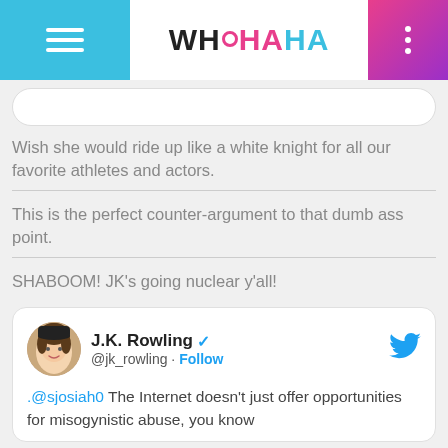WHOHAHA
Wish she would ride up like a white knight for all our favorite athletes and actors.
This is the perfect counter-argument to that dumb ass point.
SHABOOM! JK's going nuclear y'all!
[Figure (screenshot): Embedded tweet card from J.K. Rowling (@jk_rowling) with Follow button and blue verified checkmark, Twitter bird logo in top right. Tweet text: '.@sjosiah0 The Internet doesn't just offer opportunities for misogynistic abuse, you know']